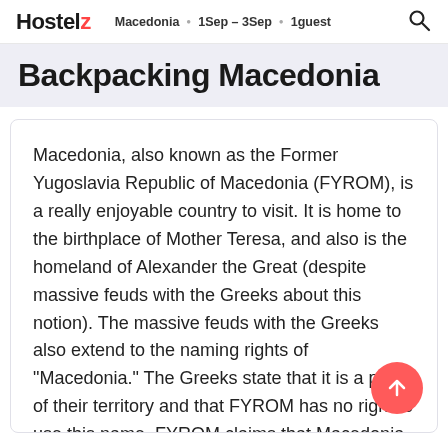Hostelz · Macedonia · 1Sep–3Sep · 1guest
Backpacking Macedonia
Macedonia, also known as the Former Yugoslavia Republic of Macedonia (FYROM), is a really enjoyable country to visit. It is home to the birthplace of Mother Teresa, and also is the homeland of Alexander the Great (despite massive feuds with the Greeks about this notion). The massive feuds with the Greeks also extend to the naming rights of "Macedonia." The Greeks state that it is a part of their territory and that FYROM has no right to use this name. FYROM claims that Macedonia was an area much larger than just in Greece and that thirty eight percent of what was known as the Macedonian region is now situated within its borders. Anyway, what this now means is that until the FYROM bow to Greece's demands of